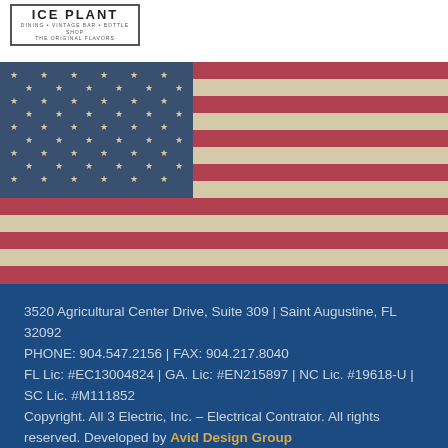[Figure (logo): ICE PLANT restaurant logo with vintage bar and bottle shop text, rectangular border]
[Figure (photo): Vintage distressed American flag with stars on blue canton and red and white stripes. Text 'IN GOD WE TRUST' in gold italic letters on the striped portion.]
3520 Agricultural Center Drive, Suite 309 | Saint Augustine, FL 32092
PHONE: 904.547.2156 | FAX: 904.217.8040
FL Lic: #EC13004824 | GA. Lic: #EN215897 | NC Lic. #19618-U | SC Lic. #M111852
Copyright. All 3 Electric, Inc. – Electrical Contrator. All rights reserved. Developed by Avid Design Group